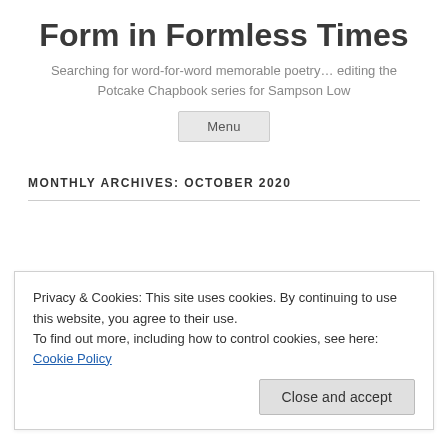Form in Formless Times
Searching for word-for-word memorable poetry… editing the Potcake Chapbook series for Sampson Low
Menu
MONTHLY ARCHIVES: OCTOBER 2020
Privacy & Cookies: This site uses cookies. By continuing to use this website, you agree to their use.
To find out more, including how to control cookies, see here: Cookie Policy
Close and accept